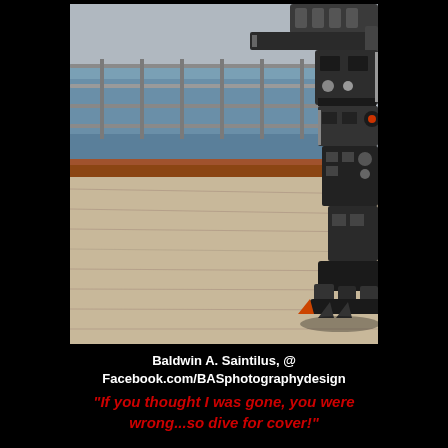[Figure (photo): A mechanical robot figure (resembling a Transformer) standing on a wooden dock or pier with water and metal railing visible in the background. The robot's torso, legs and mechanical parts are clearly visible on the right side of the image.]
Baldwin A. Saintilus, @ Facebook.com/BASphotographydesign
"If you thought I was gone, you were wrong...so dive for cover!"